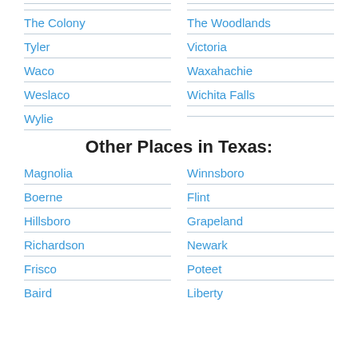The Colony
The Woodlands
Tyler
Victoria
Waco
Waxahachie
Weslaco
Wichita Falls
Wylie
Other Places in Texas:
Magnolia
Winnsboro
Boerne
Flint
Hillsboro
Grapeland
Richardson
Newark
Frisco
Poteet
Baird
Liberty